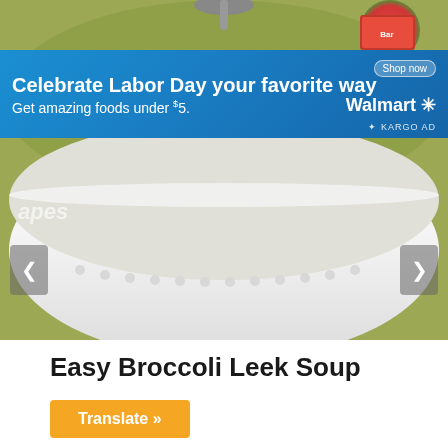[Figure (photo): Close-up photo of a white ceramic bowl filled with green broccoli leek soup, with a spoon partially visible at top. A Walmart Labor Day advertisement banner overlays the top portion of the image. Navigation arrows visible on left and right sides.]
Easy Broccoli Leek Soup
Translate »